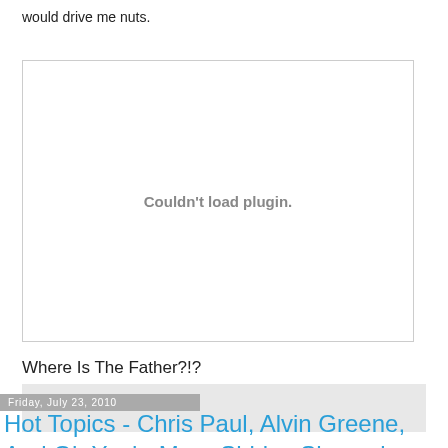would drive me nuts.
[Figure (other): Embedded plugin area showing 'Couldn't load plugin.' error message]
Where Is The Father?!?
[Figure (other): Gray placeholder box for embedded content]
Friday, July 23, 2010
Hot Topics - Chris Paul, Alvin Greene, And Oh Yeah, More Shirley Sherrod